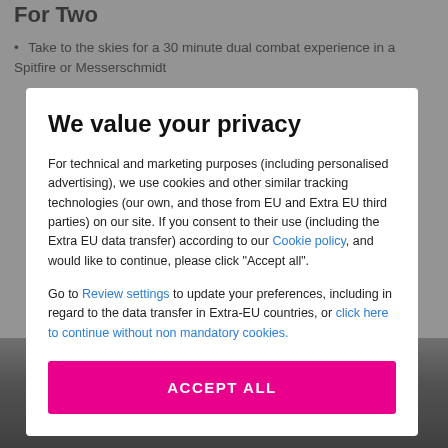For Two
Take to the skies for a 30 minute dual combat experience in a Spitfire or Messerschmidt
We value your privacy
For technical and marketing purposes (including personalised advertising), we use cookies and other similar tracking technologies (our own, and those from EU and Extra EU third parties) on our site. If you consent to their use (including the Extra EU data transfer) according to our Cookie policy, and would like to continue, please click "Accept all".
Go to Review settings to update your preferences, including in regard to the data transfer in Extra-EU countries, or click here to continue without non mandatory cookies.
ACCEPT ALL
[Figure (photo): Bottom portion of page showing a helmet/dome shape against a dark background, partially obscured by modal overlay]